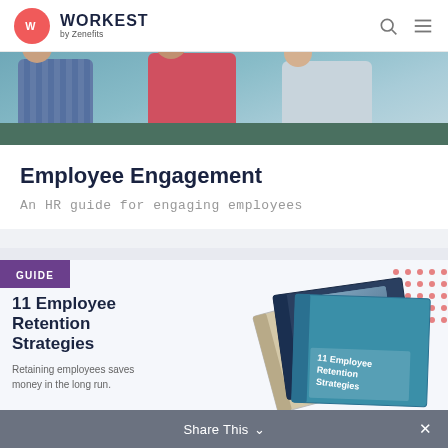WORKEST by Zenefits
[Figure (photo): Three people (two women and one person in plaid) sitting on a green couch, photographed from waist up — hero image for employee engagement article]
Employee Engagement
An HR guide for engaging employees
[Figure (other): GUIDE badge label in purple rectangle]
11 Employee Retention Strategies
Retaining employees saves money in the long run.
[Figure (illustration): Stacked book/guide mockup showing '11 Employee Retention Strategies' on a teal cover with a red dot pattern on upper right corner]
Share This ∨  ×